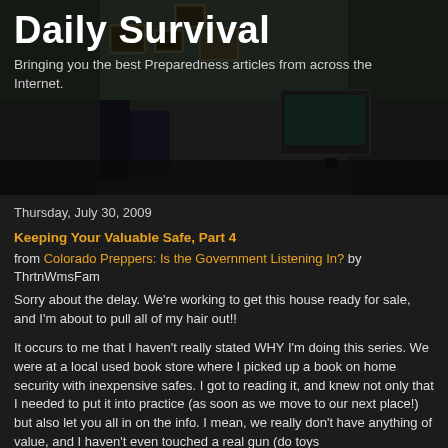Daily Survival
Bringing you the best Preparedness articles from across the Internet.
Thursday, July 30, 2009
Keeping Your Valuable Safe, Part 4
from Colorado Preppers: Is the Government Listening In? by ThrtnWmsFam
Sorry about the delay. We're working to get this house ready for sale, and I'm about to pull all of my hair out!!
It occurs to me that I haven't really stated WHY I'm doing this series. We were at a local used book store where I picked up a book on home security with inexpensive safes. I got to reading it, and knew not only that I needed to put it into practice (as soon as we move to our next place!) but also let you all in on the info. I mean, we really don't have anything of value, and I haven't even touched a real gun (do toys